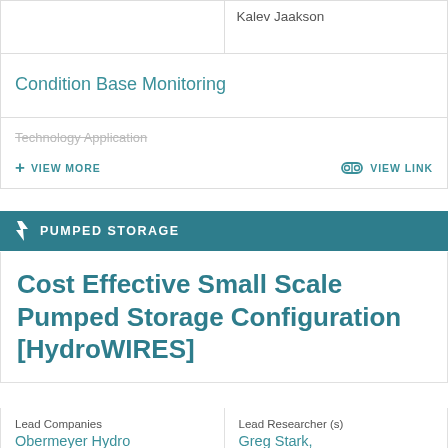Kalev Jaakson
Condition Base Monitoring
Technology Application
+ VIEW MORE
VIEW LINK
PUMPED STORAGE
Cost Effective Small Scale Pumped Storage Configuration [HydroWIRES]
Lead Companies
Obermeyer Hydro
Lead Researcher (s)
Greg Stark, greg.stark@nrel.gov